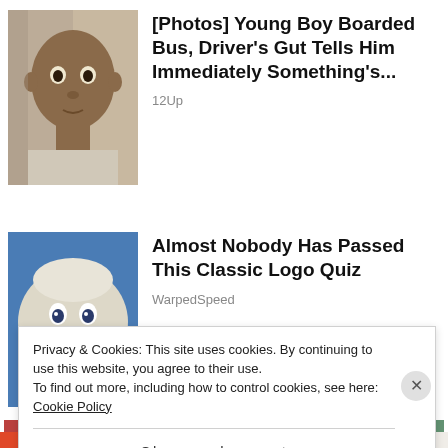[Figure (photo): Thumbnail photo of a young Black man, driver-style portrait, cropped close to face and upper body]
[Photos] Young Boy Boarded Bus, Driver's Gut Tells Him Immediately Something's...
12Up
[Figure (illustration): Illustration of a surprised baby face on a blue background, reminiscent of the Gerber baby]
Almost Nobody Has Passed This Classic Logo Quiz
WarpedSpeed
[Figure (photo): Photo of a man with sunglasses at what appears to be a sporting event, partially visible]
Privacy & Cookies: This site uses cookies. By continuing to use this website, you agree to their use.
To find out more, including how to control cookies, see here: Cookie Policy
Close and accept